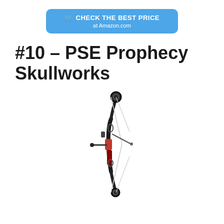[Figure (other): Blue rounded rectangle button with shopping cart icon, text 'CHECK THE BEST PRICE' in bold white and 'at Amazon.com' below in white]
#10 – PSE Prophecy Skullworks
[Figure (photo): Photo of a PSE Prophecy Skullworks compound bow, black with red accents, shown against white background]